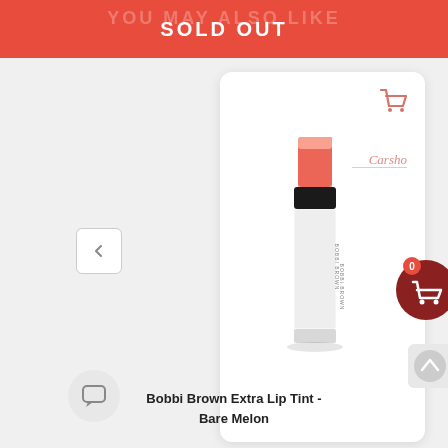YOU MAY ALSO LIKE
SOLD OUT
[Figure (screenshot): Product card showing a Bobbi Brown Extra Lip Tint lipstick in coral/melon color, white packaging, displayed on a white rounded card with a coral shopping cart icon in the top right. A 'Carsho' script logo watermark visible. Navigation arrow on left side. Shopping cart bubble with '0' badge on right. Scroll up button on far right.]
[Figure (illustration): Chat bubble comment icon in a light gray circle]
Bobbi Brown Extra Lip Tint - Bare Melon